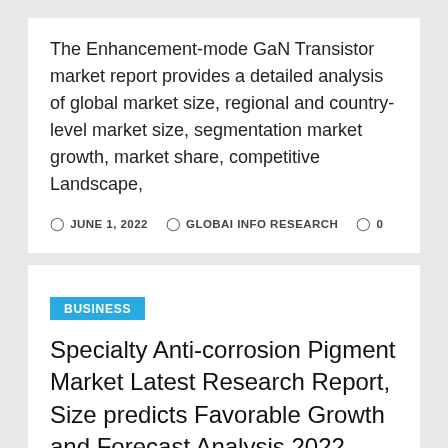The Enhancement-mode GaN Transistor market report provides a detailed analysis of global market size, regional and country-level market size, segmentation market growth, market share, competitive Landscape,
JUNE 1, 2022   GLOBAI INFO RESEARCH   0
BUSINESS
Specialty Anti-corrosion Pigment Market Latest Research Report, Size predicts Favorable Growth and Forecast Analysis 2022-2028 |Heubach, W.R. Grace